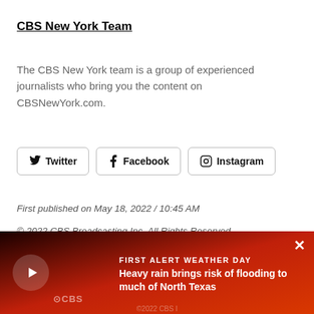CBS New York Team
The CBS New York team is a group of experienced journalists who bring you the content on CBSNewYork.com.
[Figure (infographic): Social media buttons: Twitter, Facebook, Instagram with respective icons]
First published on May 18, 2022 / 10:45 AM
© 2022 CBS Broadcasting Inc. All Rights Reserved.
[Figure (infographic): First Alert Weather Day banner with play button, CBS logo, title 'FIRST ALERT WEATHER DAY', and text 'Heavy rain brings risk of flooding to much of North Texas']